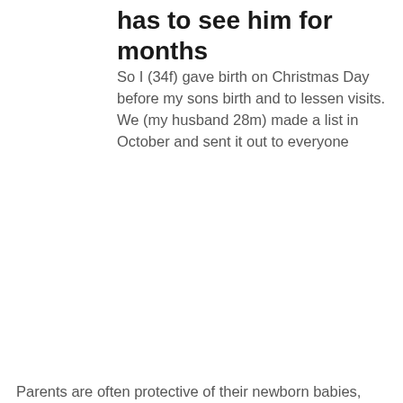has to see him for months
So I (34f) gave birth on Christmas Day before my sons birth and to lessen visits. We (my husband 28m) made a list in October and sent it out to everyone
Parents are often protective of their newborn babies,